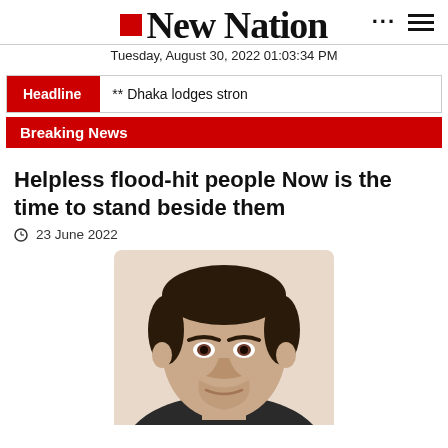New Nation — Tuesday, August 30, 2022 01:03:34 PM
** Dhaka lodges stron
Breaking News
Helpless flood-hit people Now is the time to stand beside them
23 June 2022
[Figure (photo): Close-up portrait photo of a man with dark hair, looking directly at the camera, cropped at chin level]